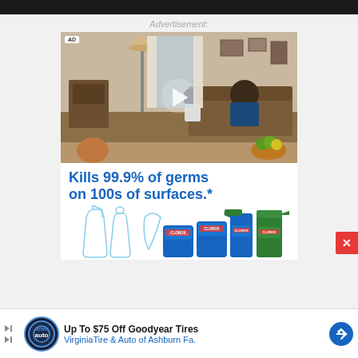Advertisement:
[Figure (screenshot): Video advertisement showing a family in a living room scene with an AD badge and play button overlay. Clorox ad below showing 'Kills 99.9% of germs on 100s of surfaces.' with Clorox product bottles illustrated in outline style and actual product photos.]
[Figure (screenshot): Bottom banner ad: Up To $75 Off Goodyear Tires - VirginiaTire & Auto of Ashburn Fa. with drive auto logo and blue direction arrow icon.]